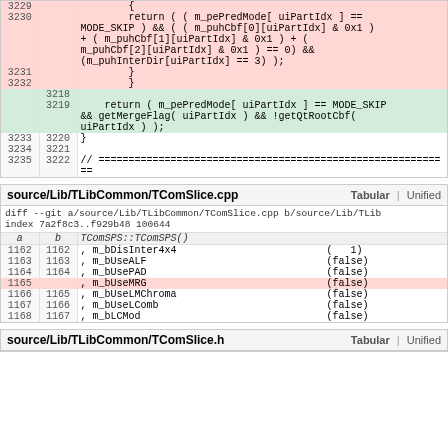| a | b | code |
| --- | --- | --- |
| 3229 |  | { |
| 3230 |  |     return ( ( m_pePredMode[ uiPartIdx ] == MODE_SKIP ) && ( ( m_puhCbf[0][uiPartIdx] & 0x1 ) + ( m_puhCbf[1][uiPartIdx] & 0x1 ) + ( m_puhCbf[2][uiPartIdx] & 0x1 ) == 0) && (m_puhInterDir[uiPartIdx] == 3) ); |
| 3231 |  |     } |
| 3232 |  | } |
|  | 3218 |  |
|  | 3219 | return ( m_pePredMode[ uiPartIdx ] == MODE_SKIP && getMergeFlag( uiPartIdx ) && !getQtRootCbf( uiPartIdx ) ); |
| 3233 | 3220 | } |
| 3234 | 3221 |  |
| 3235 | 3222 | // ===... |
source/Lib/TLibCommon/TComSlice.cpp   Tabular | Unified
diff --git a/source/Lib/TLibCommon/TComSlice.cpp b/source/Lib/TLib
index 7a2f8c3..f929b48 100644
| a | b | TComSPS::TComSPS() |
| --- | --- | --- |
| 1162 | 1162 | , m_bDisInter4x4   ( 1) |
| 1163 | 1163 | , m_bUseALF        (false) |
| 1164 | 1164 | , m_bUsePAD        (false) |
| 1165 |  | , m_bUseMRG         (false) |
| 1166 | 1165 | , m_bUseLMChroma   (false) |
| 1167 | 1166 | , m_bUseLComb      (false) |
| 1168 | 1167 | , m_bLCMod         (false) |
source/Lib/TLibCommon/TComSlice.h   Tabular | Unified